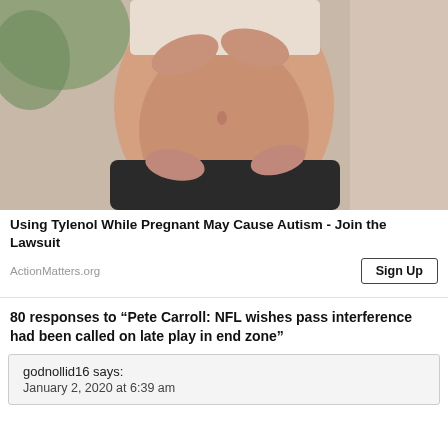[Figure (photo): Close-up photo of a pregnant woman's torso, wearing a white top and dark pants, hands cradling her baby bump, with a blurred indoor background including a plant and wooden furniture.]
Using Tylenol While Pregnant May Cause Autism - Join the Lawsuit
ActionMatters.org
Sign Up
80 responses to “Pete Carroll: NFL wishes pass interference had been called on late play in end zone”
godnollid16 says:
January 2, 2020 at 6:39 am